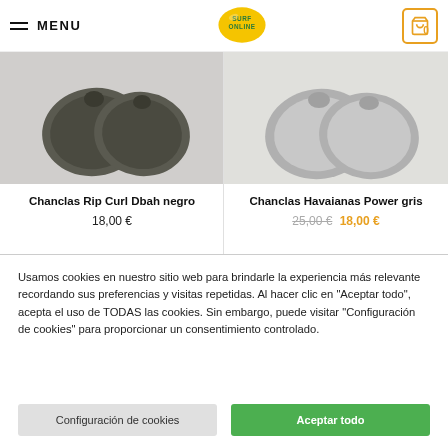≡ MENU | SURF ONLINE | 0
[Figure (photo): Top-down view of dark olive/grey flip-flop sandals (Chanclas Rip Curl Dbah negro)]
Chanclas Rip Curl Dbah negro
18,00 €
[Figure (photo): Top-down view of light grey flip-flop sandals (Chanclas Havaianas Power gris)]
Chanclas Havaianas Power gris
25,00 € 18,00 €
Usamos cookies en nuestro sitio web para brindarle la experiencia más relevante recordando sus preferencias y visitas repetidas. Al hacer clic en "Aceptar todo", acepta el uso de TODAS las cookies. Sin embargo, puede visitar "Configuración de cookies" para proporcionar un consentimiento controlado.
Configuración de cookies
Aceptar todo